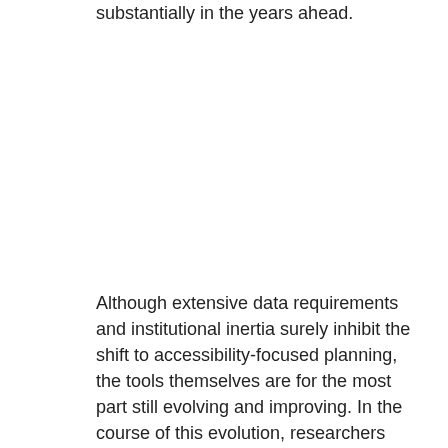substantially in the years ahead.
Although extensive data requirements and institutional inertia surely inhibit the shift to accessibility-focused planning, the tools themselves are for the most part still evolving and improving. In the course of this evolution, researchers and software developers are gradually accounting for many of the most salient dimensions of accessibility. As more jurisdictions incorporate accessibility measures into